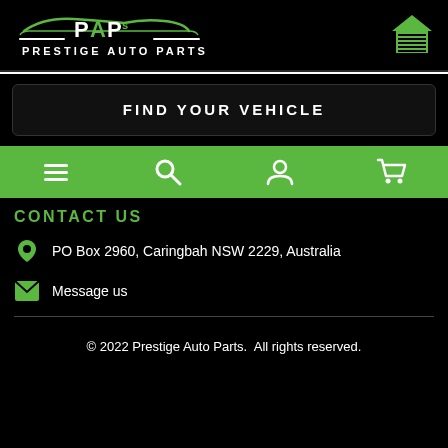[Figure (logo): Prestige Auto Parts logo with green car silhouette and PAPs text on black background]
[Figure (illustration): Green house/garage icon in top right corner]
FIND YOUR VEHICLE
[Figure (infographic): Green navigation bar with hamburger menu, search, user, and cart icons]
CONTACT US
PO Box 2960, Caringbah NSW 2229, Australia
Message us
© 2022 Prestige Auto Parts.  All rights reserved.